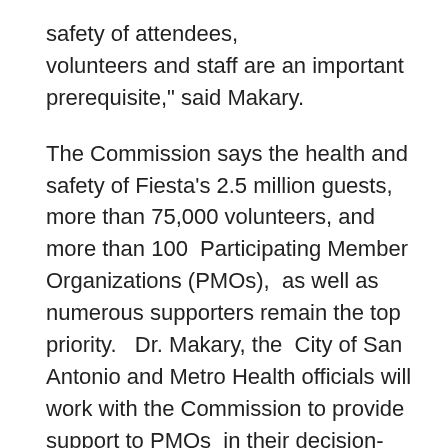safety of attendees, volunteers and staff are an important prerequisite," said Makary.
The Commission says the health and safety of Fiesta's 2.5 million guests, more than 75,000 volunteers, and more than 100 Participating Member Organizations (PMOs), as well as numerous supporters remain the top priority. Dr. Makary, the City of San Antonio and Metro Health officials will work with the Commission to provide support to PMOs in their decision-making process. Because each Fiesta event is unique, the Commission is providing opportunities for many PMOs to interact with Dr. Makary so they can determine their own needs and plans for Fiesta